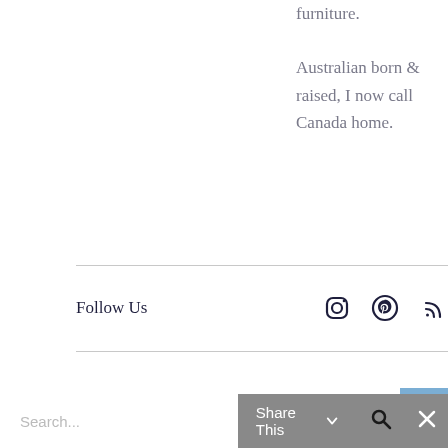furniture. Australian born & raised, I now call Canada home.
Follow Us
[Figure (other): Social media icons: Instagram, Pinterest, RSS feed]
[Figure (other): Blue navigation/menu button in top right corner]
Search...  Share This  [search icon]  [close icon]